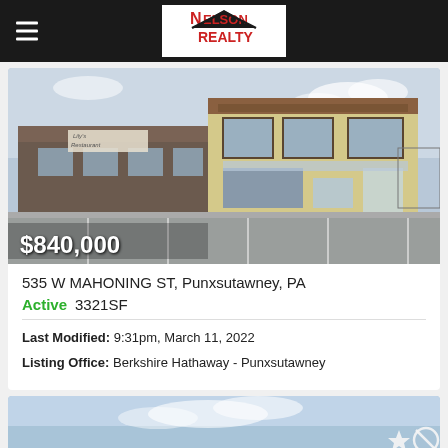Nelson Realty
[Figure (photo): Exterior photo of commercial building at 535 W Mahoning St, Punxsutawney PA. Shows a strip of commercial buildings with parking lot in front. Price overlay reads $840,000.]
535 W MAHONING ST, Punxsutawney, PA
Active  3321SF
Last Modified: 9:31pm, March 11, 2022
Listing Office: Berkshire Hathaway - Punxsutawney
[Figure (photo): Partial view of a second property listing card with sky/clouds background, showing star and ban/circle icons.]